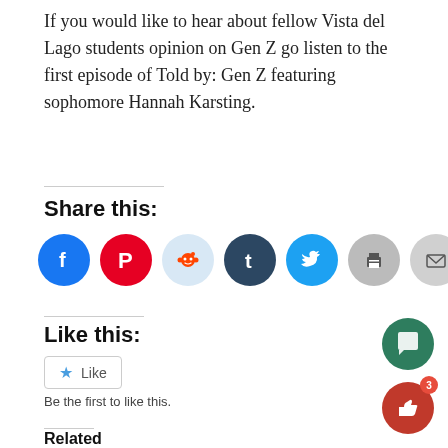If you would like to hear about fellow Vista del Lago students opinion on Gen Z go listen to the first episode of Told by: Gen Z featuring sophomore Hannah Karsting.
Share this:
[Figure (infographic): Row of seven social share icon circles: Facebook (blue), Pinterest (red), Reddit (light blue), Tumblr (dark navy), Twitter (blue), Print (gray), Email (gray)]
Like this:
[Figure (infographic): Like button widget with star icon and text 'Like', followed by 'Be the first to like this.']
Related
[Figure (infographic): Two floating action buttons in bottom-right corner: green comment bubble button and red thumbs-up button with badge showing '3']